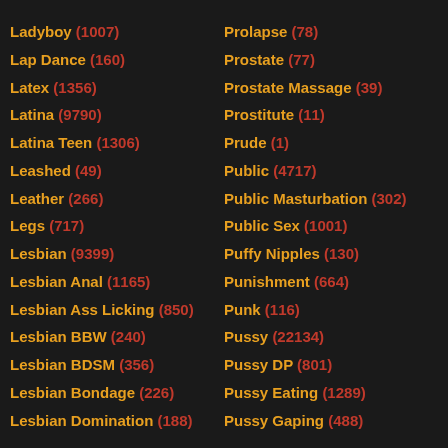Ladyboy (1007)
Lap Dance (160)
Latex (1356)
Latina (9790)
Latina Teen (1306)
Leashed (49)
Leather (266)
Legs (717)
Lesbian (9399)
Lesbian Anal (1165)
Lesbian Ass Licking (850)
Lesbian BBW (240)
Lesbian BDSM (356)
Lesbian Bondage (226)
Lesbian Domination (188)
Prolapse (78)
Prostate (77)
Prostate Massage (39)
Prostitute (11)
Prude (1)
Public (4717)
Public Masturbation (302)
Public Sex (1001)
Puffy Nipples (130)
Punishment (664)
Punk (116)
Pussy (22134)
Pussy DP (801)
Pussy Eating (1289)
Pussy Gaping (488)